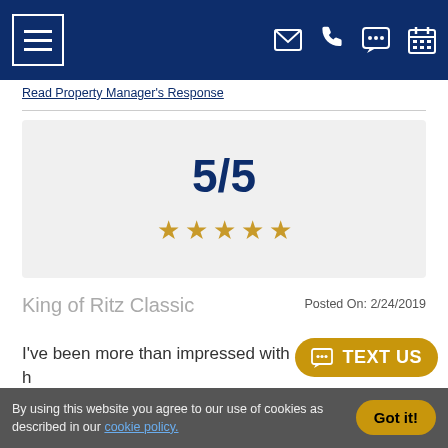[Figure (screenshot): Navigation bar with hamburger menu icon on left and email, phone, chat, calendar icons on right, dark navy blue background]
Read Property Manager's Response
5/5
[Figure (other): Five gold star rating icons]
Posted On: 2/24/2019
King of Ritz Classic
I've been more than impressed with h
TEXT US
By using this website you agree to our use of cookies as described in our cookie policy.
Got it!